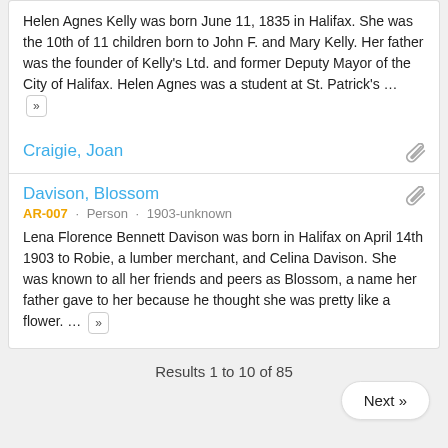Helen Agnes Kelly was born June 11, 1855 in Halifax. She was the 10th of 11 children born to John F. and Mary Kelly. Her father was the founder of Kelly's Ltd. and former Deputy Mayor of the City of Halifax. Helen Agnes was a student at St. Patrick's ... »
Craigie, Joan
Davison, Blossom
AR-007 · Person · 1903-unknown
Lena Florence Bennett Davison was born in Halifax on April 14th 1903 to Robie, a lumber merchant, and Celina Davison. She was known to all her friends and peers as Blossom, a name her father gave to her because he thought she was pretty like a flower. ... »
Results 1 to 10 of 85
Next »